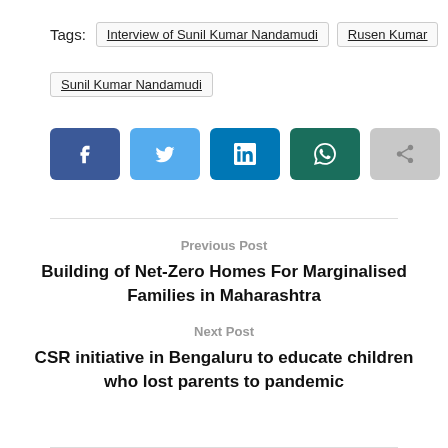Tags: Interview of Sunil Kumar Nandamudi  Rusen Kumar  Sunil Kumar Nandamudi
[Figure (infographic): Row of five social share buttons: Facebook (dark blue, f icon), Twitter (light blue, bird icon), LinkedIn (blue, in icon), WhatsApp (dark teal, phone icon), Share (gray, share icon)]
Previous Post
Building of Net-Zero Homes For Marginalised Families in Maharashtra
Next Post
CSR initiative in Bengaluru to educate children who lost parents to pandemic